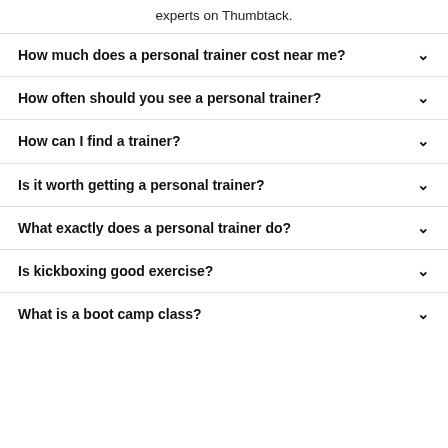experts on Thumbtack.
How much does a personal trainer cost near me?
How often should you see a personal trainer?
How can I find a trainer?
Is it worth getting a personal trainer?
What exactly does a personal trainer do?
Is kickboxing good exercise?
What is a boot camp class?